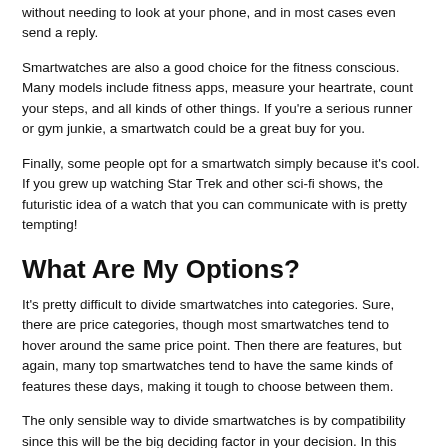SMS whilst you're in a meeting. No problem, you can check it out without needing to look at your phone, and in most cases even send a reply.
Smartwatches are also a good choice for the fitness conscious. Many models include fitness apps, measure your heartrate, count your steps, and all kinds of other things. If you're a serious runner or gym junkie, a smartwatch could be a great buy for you.
Finally, some people opt for a smartwatch simply because it's cool. If you grew up watching Star Trek and other sci-fi shows, the futuristic idea of a watch that you can communicate with is pretty tempting!
What Are My Options?
It's pretty difficult to divide smartwatches into categories. Sure, there are price categories, though most smartwatches tend to hover around the same price point. Then there are features, but again, many top smartwatches tend to have the same kinds of features these days, making it tough to choose between them.
The only sensible way to divide smartwatches is by compatibility since this will be the big deciding factor in your decision. In this case, there are